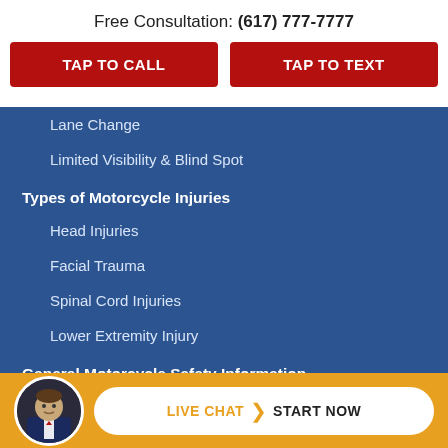Free Consultation: (617) 777-7777
TAP TO CALL
TAP TO TEXT
Lane Change
Limited Visibility & Blind Spot
Types of Motorcycle Injuries
Head Injuries
Facial Trauma
Spinal Cord Injuries
Lower Extremity Injury
General Motorcycle Safety Information
Value of Damages
LIVE CHAT › START NOW